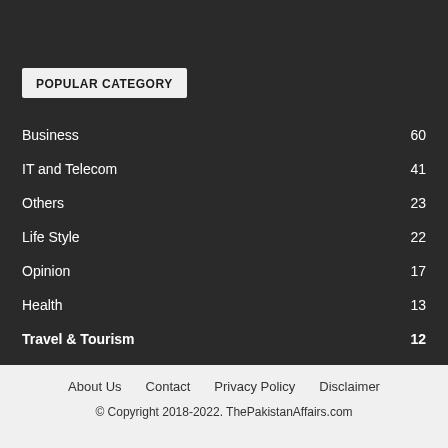POPULAR CATEGORY
Business 60
IT and Telecom 41
Others 23
Life Style 22
Opinion 17
Health 13
Travel & Tourism 12
About Us   Contact   Privacy Policy   Disclaimer
© Copyright 2018-2022. ThePakistanAffairs.com